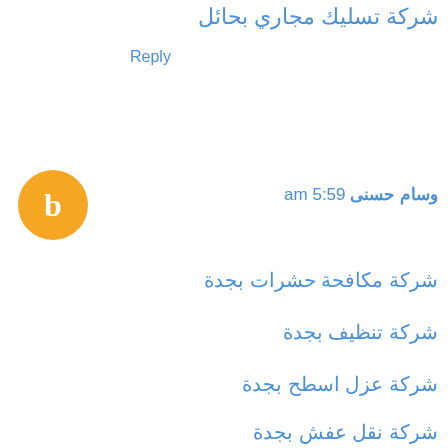شركة تسليك مجاري بحائل
Reply
[Figure (illustration): Orange circle avatar with white letter B inside]
وسام حسنى 5:59 am
شركة مكافحة حشرات بجدة
شركة تنظيف بجدة
شركة عزل اسطح بجدة
شركة نقل عفش بجدة
شركة تنظيف بالبخار بجدة